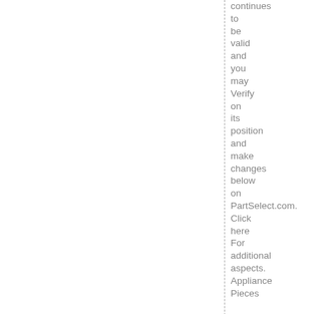continues to be valid and you may Verify on its position and make changes below on PartSelect.com. Click here For additional aspects. Appliance Pieces

Chances are high, you could